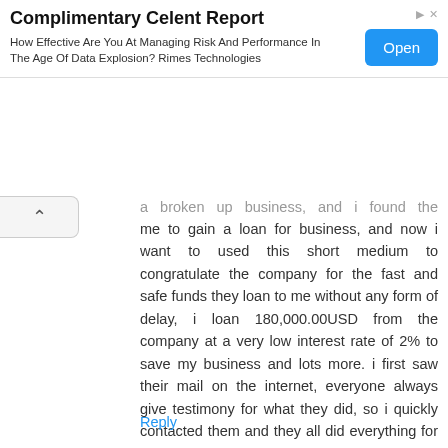[Figure (other): Advertisement banner: Complimentary Celent Report - How Effective Are You At Managing Risk And Performance In The Age Of Data Explosion? Rimes Technologies. Open button on the right.]
a broken up business, and i found the company who help me to gain a loan for business, and now i want to used this short medium to congratulate the company for the fast and safe funds they loan to me without any form of delay, i loan 180,000.00USD from the company at a very low interest rate of 2% to save my business and lots more. i first saw their mail on the internet, everyone always give testimony for what they did, so i quickly contacted them and they all did everything for me without stress and my funds was sent to my account within 24hrs, i was surprise and feel glad, now i now have a standard business control agent who help me, now i will advice those who need urgent loan to contact them now via email : {jonesloanfinance@yahoo.com} OR Text him +1(307) 217-5388.
Reply